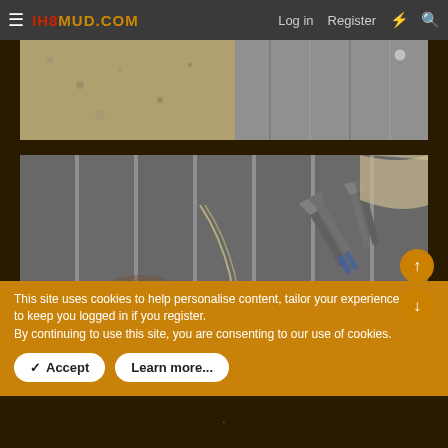IH8MUD.COM — Log in | Register
[Figure (photo): Partial vehicle undercarriage or floor area showing concrete/dirt ground on the left and metal panel on the right]
[Figure (photo): Close-up of corrugated/ribbed metal floor panels with rust stains, a rounded metal fitting on the left, and pliers/tools on the right side]
This site uses cookies to help personalise content, tailor your experience and to keep you logged in if you register.
By continuing to use this site, you are consenting to our use of cookies.
✓ Accept
Learn more...